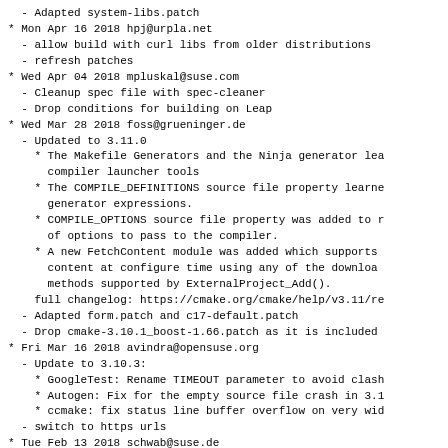- Adapted system-libs.patch
* Mon Apr 16 2018 hpj@urpla.net
  - allow build with curl libs from older distributions
  - refresh patches
* Wed Apr 04 2018 mpluskal@suse.com
  - Cleanup spec file with spec-cleaner
  - Drop conditions for building on Leap
* Wed Mar 28 2018 foss@grueninger.de
  - Updated to 3.11.0
    * The Makefile Generators and the Ninja generator lea
      compiler launcher tools
    * The COMPILE_DEFINITIONS source file property learne
      generator expressions.
    * COMPILE_OPTIONS source file property was added to r
      of options to pass to the compiler.
    * A new FetchContent module was added which supports
      content at configure time using any of the downloa
      methods supported by ExternalProject_Add().
    full changelog: https://cmake.org/cmake/help/v3.11/re
  - Adapted form.patch and c17-default.patch
  - Drop cmake-3.10.1_boost-1.66.patch as it is included
* Fri Mar 16 2018 avindra@opensuse.org
  - Update to 3.10.3:
    * GoogleTest: Rename TIMEOUT parameter to avoid clash
    * Autogen: Fix for the empty source file crash in 3.1
    * ccmake: fix status line buffer overflow on very wid
  - switch to https urls
* Tue Feb 13 2018 schwab@suse.de
  - c17-default.patch: Add support for C17 default in GC
* Fri Jan 19 2018 avindra@opensuse.org